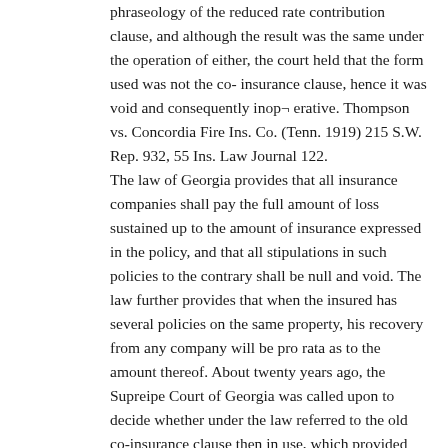phraseology of the reduced rate contribution clause, and although the result was the same under the operation of either, the court held that the form used was not the co- insurance clause, hence it was void and consequently inop¬ erative. Thompson vs. Concordia Fire Ins. Co. (Tenn. 1919) 215 S.W. Rep. 932, 55 Ins. Law Journal 122.
The law of Georgia provides that all insurance companies shall pay the full amount of loss sustained up to the amount of insurance expressed in the policy, and that all stipulations in such policies to the contrary shall be null and void. The law further provides that when the insured has several policies on the same property, his recovery from any company will be pro rata as to the amount thereof. About twenty years ago, the Supreipe Court of Georgia was called upon to decide whether under the law referred to the old co-insurance clause then in use, which provided